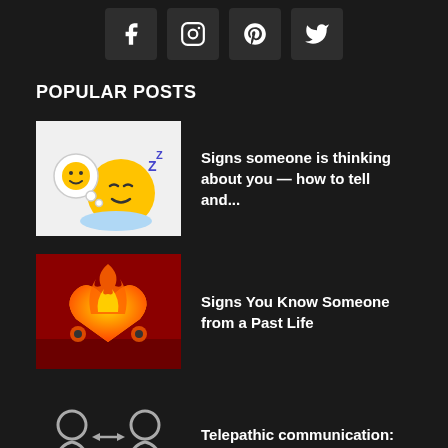[Figure (infographic): Social media icons row: Facebook, Instagram, Pinterest, Twitter on dark rounded square backgrounds]
POPULAR POSTS
[Figure (illustration): Sleeping yellow emoji face with a thought bubble showing a happy face emoji, on white background]
Signs someone is thinking about you — how to tell and...
[Figure (illustration): Flaming heart illustration on dark red background with fire and decorative elements]
Signs You Know Someone from a Past Life
[Figure (illustration): Two person silhouettes connected by a double-headed arrow on dark background, representing telepathic connection]
Telepathic communication: Ways to test your connection
POPULAR CATEGORY